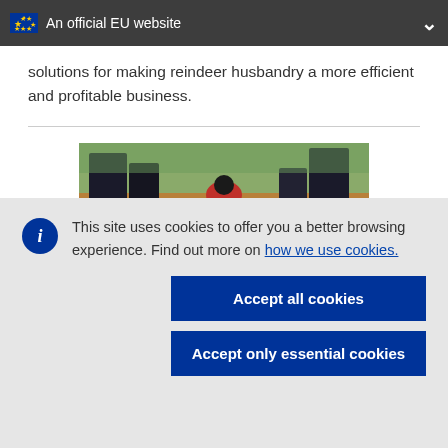An official EU website
solutions for making reindeer husbandry a more efficient and profitable business.
[Figure (photo): Outdoor photo showing dark-clothed figures and a bird on grass with autumn leaves]
This site uses cookies to offer you a better browsing experience. Find out more on how we use cookies.